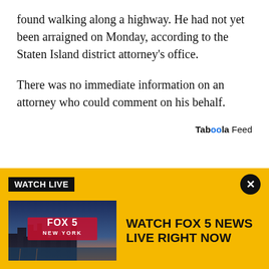found walking along a highway. He had not yet been arraigned on Monday, according to the Staten Island district attorney's office.
There was no immediate information on an attorney who could comment on his behalf.
Taboola Feed
[Figure (infographic): Watch Live banner with Fox 5 New York thumbnail and text WATCH FOX 5 NEWS LIVE RIGHT NOW on yellow background]